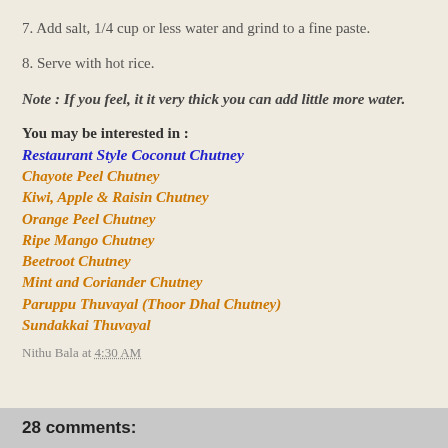7. Add salt, 1/4 cup or less water and grind to a fine paste.
8. Serve with hot rice.
Note : If you feel, it it very thick you can add little more water.
You may be interested in :
Restaurant Style Coconut Chutney
Chayote Peel Chutney
Kiwi, Apple & Raisin Chutney
Orange Peel Chutney
Ripe Mango Chutney
Beetroot Chutney
Mint and Coriander Chutney
Paruppu Thuvayal (Thoor Dhal Chutney)
Sundakkai Thuvayal
Nithu Bala at 4:30 AM
28 comments: